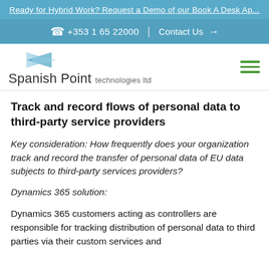Ready for Hybrid Work? Request a Demo of our Book A Desk Ap...
📞 +353 1 65 22000 | Contact Us →
[Figure (logo): Spanish Point technologies ltd logo with blue bowtie graphic]
Track and record flows of personal data to third-party service providers
Key consideration: How frequently does your organization track and record the transfer of personal data of EU data subjects to third-party services providers?
Dynamics 365 solution:
Dynamics 365 customers acting as controllers are responsible for tracking distribution of personal data to third parties via their custom services and